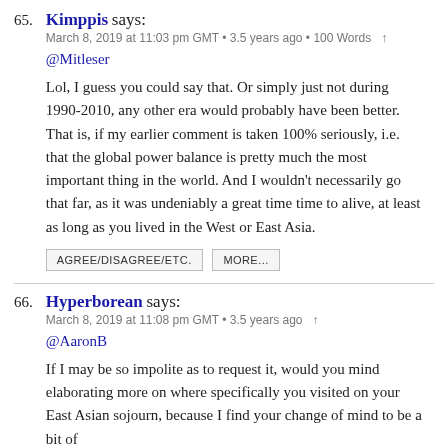65. Kimppis says:
March 8, 2019 at 11:03 pm GMT • 3.5 years ago • 100 Words ↑
@Mitleser
Lol, I guess you could say that. Or simply just not during 1990-2010, any other era would probably have been better. That is, if my earlier comment is taken 100% seriously, i.e. that the global power balance is pretty much the most important thing in the world. And I wouldn't necessarily go that far, as it was undeniably a great time time to alive, at least as long as you lived in the West or East Asia.
66. Hyperborean says:
March 8, 2019 at 11:08 pm GMT • 3.5 years ago ↑
@AaronB
If I may be so impolite as to request it, would you mind elaborating more on where specifically you visited on your East Asian sojourn, because I find your change of mind to be a bit of